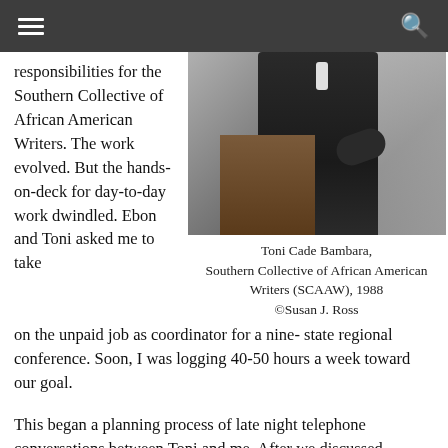☰  🔍
responsibilities for the Southern Collective of African American Writers. The work evolved. But the hands-on-deck for day-to-day work dwindled. Ebon and Toni asked me to take on the unpaid job as coordinator for a nine- state regional conference. Soon, I was logging 40-50 hours a week toward our goal.
[Figure (photo): Woman speaking at a podium with a microphone, wearing a black top and hoop earrings, with drapery in the background.]
Toni Cade Bambara, Southern Collective of African American Writers (SCAAW), 1988 ©Susan J. Ross
This began a planning process of late night telephone conversations between Toni and me. After we discussed progress with the conference, she would pull out her address book, and I